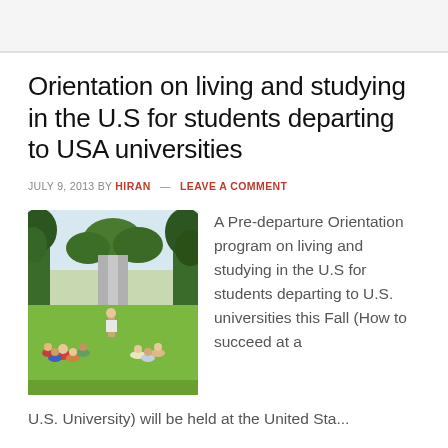Orientation on living and studying in the U.S for students departing to USA universities
JULY 9, 2013 BY HIRAN — LEAVE A COMMENT
[Figure (photo): Students sitting on grass in a campus setting, with trees and a road in the background. A person stands in the center while others sit around on the lawn.]
A Pre-departure Orientation program on living and studying in the U.S for students departing to U.S. universities this Fall (How to succeed at a U.S. University) will be held at the United Sta...